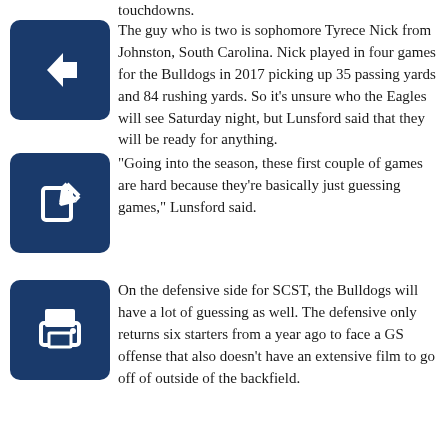touchdowns.
The guy who is two is sophomore Tyrece Nick from Johnston, South Carolina. Nick played in four games for the Bulldogs in 2017 picking up 35 passing yards and 84 rushing yards. So it’s unsure who the Eagles will see Saturday night, but Lunsford said that they will be ready for anything.
“Going into the season, these first couple of games are hard because they’re basically just guessing games,” Lunsford said.
On the defensive side for SCST, the Bulldogs will have a lot of guessing as well. The defensive only returns six starters from a year ago to face a GS offense that also doesn’t have an extensive film to go off of outside of the backfield.
In the same way the Eagles are going through a new era from the top, the Bulldogs have an interim defensive coordinator and a new offensive coordinator. Bennett Swygert will be the offensive coordinator for SCST and Jonathan Saxon fills the interim defensive coordinator slot after serving the past three seasons as linebackers coach.
GS has won the last 20 non-conference games played in Paulson and they look to extend that streak to 21 Saturday, Sept. 1 at 6 p.m.
“I want to see a team go out there and feed off of our crowd,” Lunsford